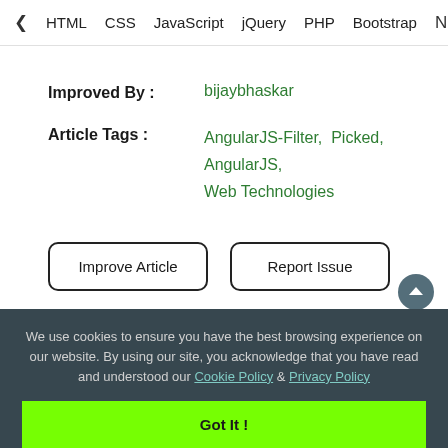< HTML  CSS  JavaScript  jQuery  PHP  Bootstrap  N>
Improved By : bijaybhaskar
Article Tags : AngularJS-Filter,  Picked,  AngularJS,  Web Technologies
Improve Article
Report Issue
We use cookies to ensure you have the best browsing experience on our website. By using our site, you acknowledge that you have read and understood our Cookie Policy & Privacy Policy
Got It !